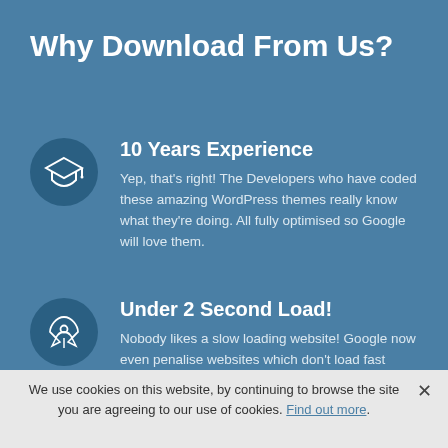Why Download From Us?
10 Years Experience
Yep, that's right! The Developers who have coded these amazing WordPress themes really know what they're doing. All fully optimised so Google will love them.
Under 2 Second Load!
Nobody likes a slow loading website! Google now even penalise websites which don't load fast enough - but don't
We use cookies on this website, by continuing to browse the site you are agreeing to our use of cookies. Find out more.